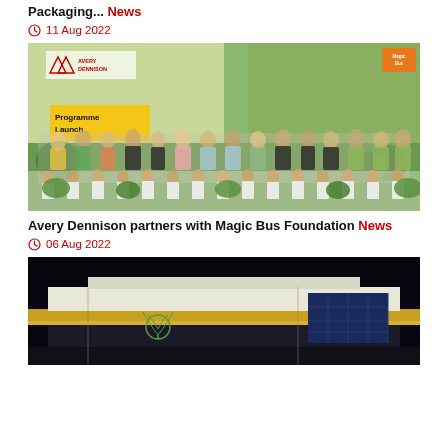Packaging... News
11 Aug 2022
[Figure (photo): Group photo at Avery Dennison Programme Launch event with school children and adults in front of a school building]
Avery Dennison partners with Magic Bus Foundation News
06 Aug 2022
[Figure (photo): Night-time exterior photo of a building with illuminated facade featuring yellow/gold and white architectural details]